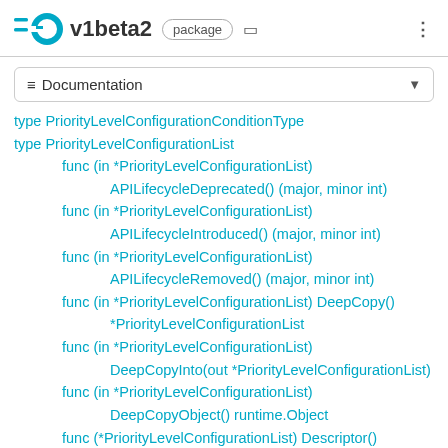GO v1beta2 package
Documentation
type PriorityLevelConfigurationConditionType
type PriorityLevelConfigurationList
func (in *PriorityLevelConfigurationList) APILifecycleDeprecated() (major, minor int)
func (in *PriorityLevelConfigurationList) APILifecycleIntroduced() (major, minor int)
func (in *PriorityLevelConfigurationList) APILifecycleRemoved() (major, minor int)
func (in *PriorityLevelConfigurationList) DeepCopy() *PriorityLevelConfigurationList
func (in *PriorityLevelConfigurationList) DeepCopyInto(out *PriorityLevelConfigurationList)
func (in *PriorityLevelConfigurationList) DeepCopyObject() runtime.Object
func (*PriorityLevelConfigurationList) Descriptor()